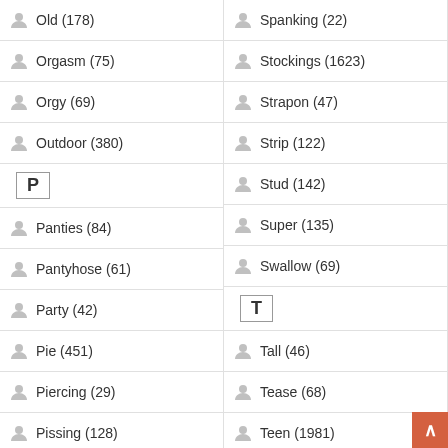Old (178)
Orgasm (75)
Orgy (69)
Outdoor (380)
P
Panties (84)
Pantyhose (61)
Party (42)
Pie (451)
Piercing (29)
Pissing (128)
POV (895)
Prostitute (10)
Public (75)
Spanking (22)
Stockings (1623)
Strapon (47)
Strip (122)
Stud (142)
Super (135)
Swallow (69)
T
Tall (46)
Tease (68)
Teen (1981)
Thai (175)
Threesome (266)